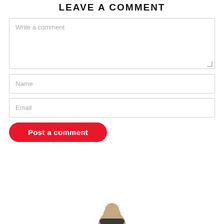Leave a comment
Write a comment
Name
Email
Post a comment
[Figure (photo): Bottom of page shows top of a person's head, partially visible]